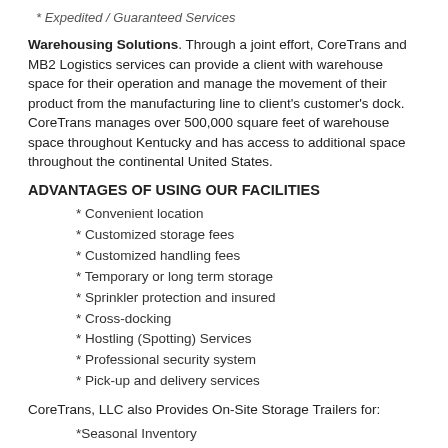* Expedited / Guaranteed Services
Warehousing Solutions. Through a joint effort, CoreTrans and MB2 Logistics services can provide a client with warehouse space for their operation and manage the movement of their product from the manufacturing line to client's customer's dock. CoreTrans manages over 500,000 square feet of warehouse space throughout Kentucky and has access to additional space throughout the continental United States.
ADVANTAGES OF USING OUR FACILITIES
* Convenient location
* Customized storage fees
* Customized handling fees
* Temporary or long term storage
* Sprinkler protection and insured
* Cross-docking
* Hostling (Spotting) Services
* Professional security system
* Pick-up and delivery services
CoreTrans, LLC also Provides On-Site Storage Trailers for:
*Seasonal Inventory
* Construction site tools & supplies
* Office Furniture
* Rapid Warehouse Expansion
* Secure supply depot
* Printing supplies
* Record Storage
* Agricultural Supplies
* Recreational Equipment